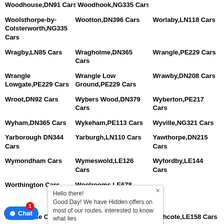Woodhouse,DN91 Cars | Woodhook,NG335 Cars | Woodthorpe,LN130 Cars
Woolsthorpe-by-Colsterworth,NG335 Cars
Wootton,DN396 Cars
Worlaby,LN118 Cars
Wragby,LN85 Cars
Wragholme,DN365 Cars
Wrangle,PE229 Cars
Wrangle Lowgate,PE229 Cars
Wrangle Low Ground,PE229 Cars
Wrawby,DN208 Cars
Wroot,DN92 Cars
Wybers Wood,DN379 Cars
Wyberton,PE217 Cars
Wyham,DN365 Cars
Wykeham,PE113 Cars
Wyville,NG321 Cars
Yarborough DN344 Cars
Yarburgh,LN110 Cars
Yawthorpe,DN215 Cars
Wymondham Cars
Wymeswold,LE126 Cars
Wyfordby,LE144 Cars
Worthington Cars
Woolrooms,LE678 Cars
Woodthorpe,LE128 Cars
Woodhouse Cars
Witherley,CV93 Cars
Withcote,LE158 Cars
Wigston Cars 38 Cars
Wigston Magna,LE183 Cars
Wigston Parva,LE103 Cars